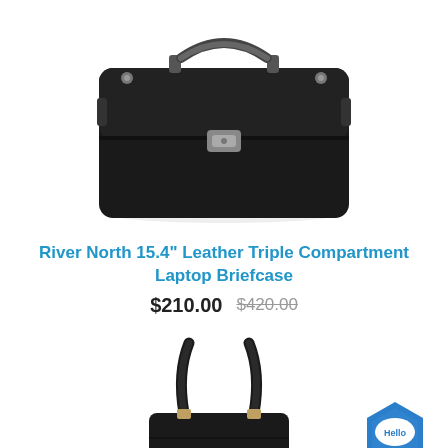[Figure (photo): Black leather briefcase with silver latch, top handle, and side clasps]
River North 15.4" Leather Triple Compartment Laptop Briefcase
$210.00  $420.00
[Figure (photo): Black leather tote bag with two handles and gold hardware, partially visible]
[Figure (logo): Hello chat widget badge - blue hexagon with Hello text]